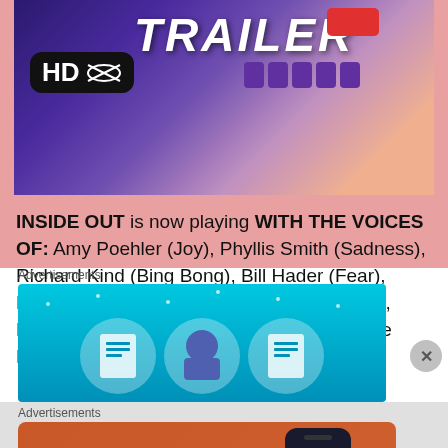[Figure (screenshot): Animated movie trailer thumbnail with 'TRAILER' text, HD badge with scissors icon, purple controller buttons, and cartoon character in background]
INSIDE OUT  is now playing WITH THE VOICES OF: Amy Poehler (Joy), Phyllis Smith (Sadness), Richard Kind (Bing Bong), Bill Hader (Fear), Lewis Black (Anger), Mindy Kaling (Disgust), Kaitlyn Dias (Riley), Diane Lane (Mom), Kyle MacLachlan (Dad).
Advertisements
[Figure (screenshot): Blue advertisement banner with icons]
Advertisements
[Figure (screenshot): DuckDuckGo advertisement: Search, browse, and email with more privacy. All in One Free App. Shows phone with DuckDuckGo logo.]